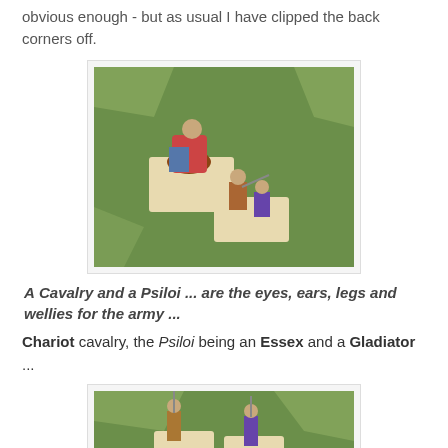obvious enough - but as usual I have clipped the back corners off.
[Figure (photo): Two miniature wargaming figures on bases — a cavalry figure and a Psiloi figure — photographed on a green terrain mat.]
A Cavalry and a Psiloi ... are the eyes, ears, legs and wellies for the army ...
Chariot cavalry, the Psiloi being an Essex and a Gladiator ...
[Figure (photo): Miniature wargaming figures on bases photographed on a green terrain mat, partially visible at bottom of page.]